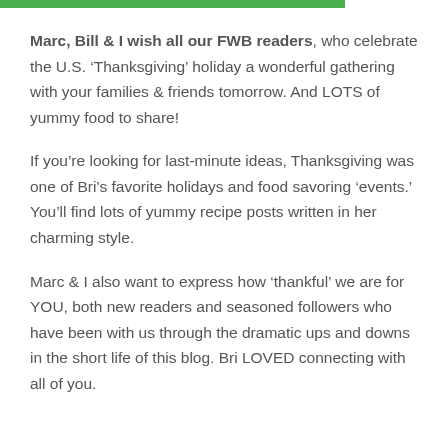Marc, Bill & I wish all our FWB readers, who celebrate the U.S. 'Thanksgiving' holiday a wonderful gathering with your families & friends tomorrow. And LOTS of yummy food to share!
If you're looking for last-minute ideas, Thanksgiving was one of Bri's favorite holidays and food savoring 'events.' You'll find lots of yummy recipe posts written in her charming style.
Marc & I also want to express how 'thankful' we are for YOU, both new readers and seasoned followers who have been with us through the dramatic ups and downs in the short life of this blog. Bri LOVED connecting with all of you.